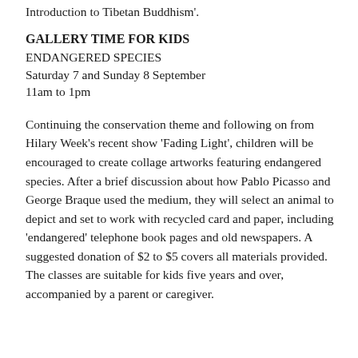Introduction to Tibetan Buddhism'.
GALLERY TIME FOR KIDS
ENDANGERED SPECIES
Saturday 7 and Sunday 8 September
11am to 1pm
Continuing the conservation theme and following on from Hilary Week’s recent show ‘Fading Light’, children will be encouraged to create collage artworks featuring endangered species. After a brief discussion about how Pablo Picasso and George Braque used the medium, they will select an animal to depict and set to work with recycled card and paper, including ‘endangered’ telephone book pages and old newspapers. A suggested donation of $2 to $5 covers all materials provided. The classes are suitable for kids five years and over, accompanied by a parent or caregiver.